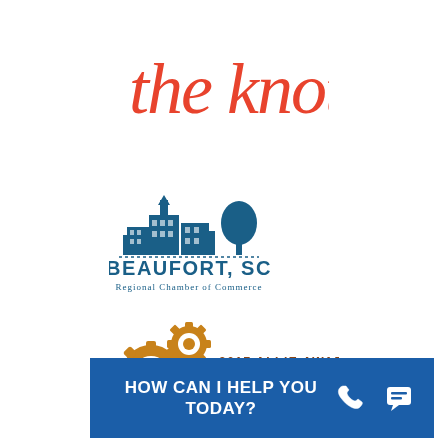[Figure (logo): The Knot logo in red cursive script]
[Figure (logo): Beaufort, SC Regional Chamber of Commerce logo with building/church illustration in blue]
[Figure (logo): 2017 Allie Award Winner badge with gold gear icons and brown/red text]
HOW CAN I HELP YOU TODAY?